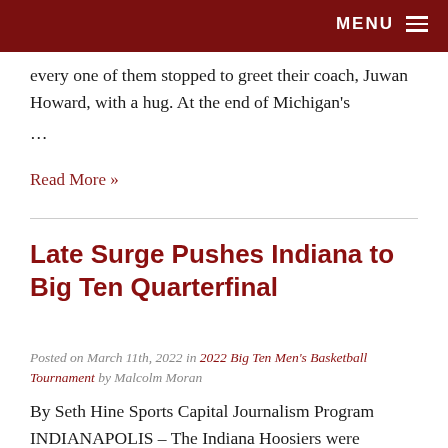MENU
every one of them stopped to greet their coach, Juwan Howard, with a hug. At the end of Michigan's …
Read More »
Late Surge Pushes Indiana to Big Ten Quarterfinal
Posted on March 11th, 2022 in 2022 Big Ten Men's Basketball Tournament by Malcolm Moran
By Seth Hine Sports Capital Journalism Program INDIANAPOLIS – The Indiana Hoosiers were struggling to contend with multiple histories in their first game of the Big Ten Men's Basketball